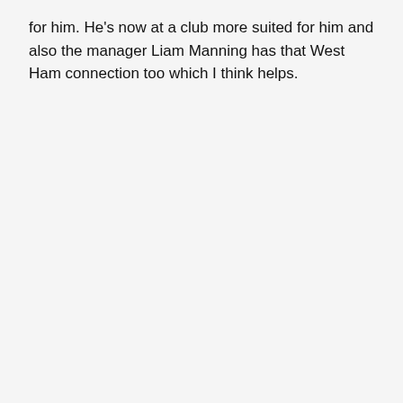for him. He's now at a club more suited for him and also the manager Liam Manning has that West Ham connection too which I think helps.